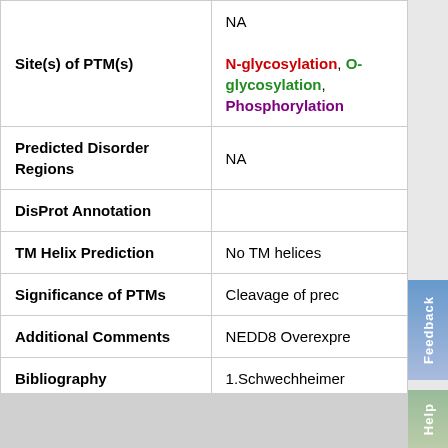| Field | Value |
| --- | --- |
| Site(s) of PTM(s) | NA

N-glycosylation, O-glycosylation, Phosphorylation |
| Predicted Disorder Regions | NA |
| DisProt Annotation |  |
| TM Helix Prediction | No TM helices |
| Significance of PTMs | Cleavage of prec... |
| Additional Comments | NEDD8 Overexpre... |
| Bibliography | 1.Schwechheimer... |